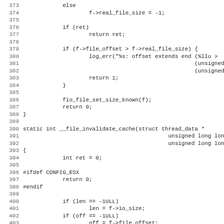Source code listing lines 373-405, C code for file I/O operations including file size checking, cache invalidation function, and conditional compilation blocks.